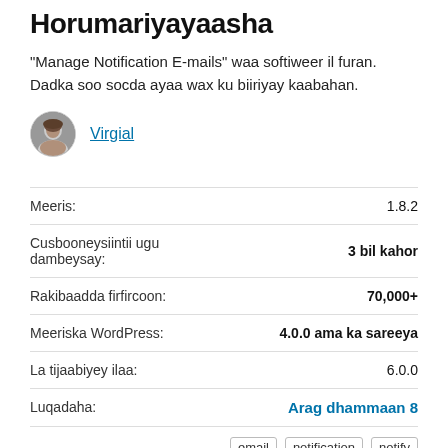Horumariyayaasha
“Manage Notification E-mails” waa softiweer il furan. Dadka soo socda ayaa wax ku biiriyay kaabahan.
Virgial
| Label | Value |
| --- | --- |
| Meeris: | 1.8.2 |
| Cusbooneysiintii ugu dambeysay: | 3 bil kahor |
| Rakibaadda firfircoon: | 70,000+ |
| Meeriska WordPress: | 4.0.0 ama ka sareeya |
| La tijaabiyey ilaa: | 6.0.0 |
| Luqadaha: | Arag dhammaan 8 |
| Sumado: | email notification notify password |